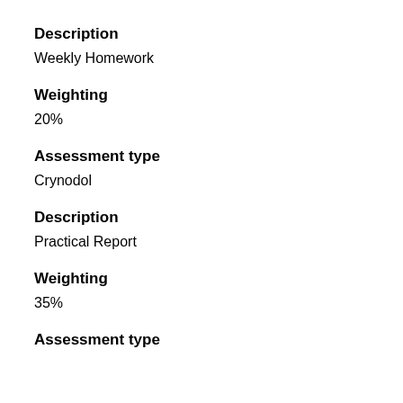Description
Weekly Homework
Weighting
20%
Assessment type
Crynodol
Description
Practical Report
Weighting
35%
Assessment type